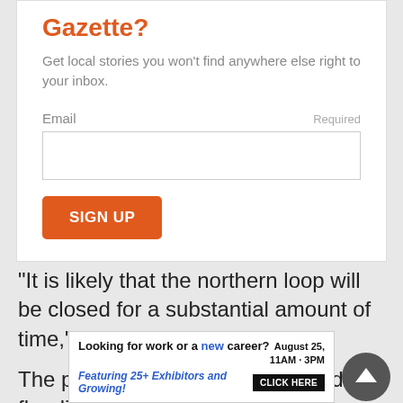Gazette?
Get local stories you won't find anywhere else right to your inbox.
Email   Required
[Figure (screenshot): Email input field (empty text box)]
[Figure (screenshot): SIGN UP button in orange]
“It is likely that the northern loop will be closed for a substantial amount of time,” he said.
The park was experiencing record flooding, officials sai
[Figure (screenshot): Scroll-to-top circular button with upward arrow]
[Figure (screenshot): Advertisement banner: Looking for work or a new career? August 25, 11AM-3PM. Featuring 25+ Exhibitors and Growing! CLICK HERE]